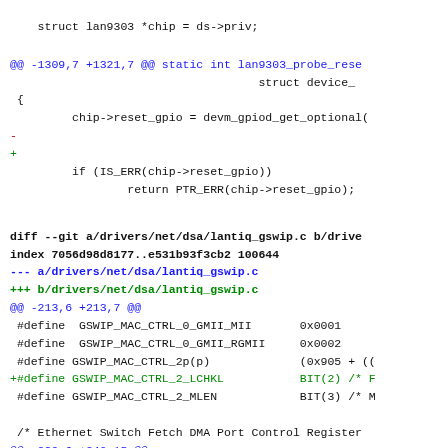struct lan9303 *chip = ds->priv;

@@ -1309,7 +1321,7 @@ static int lan9303_probe_rese
                                    struct device_
 {
         chip->reset_gpio = devm_gpiod_get_optional(
-
+
         if (IS_ERR(chip->reset_gpio))
                 return PTR_ERR(chip->reset_gpio);
diff --git a/drivers/net/dsa/lantiq_gswip.c b/drive
index 7056d98d8177..e531b93f3cb2 100644
--- a/drivers/net/dsa/lantiq_gswip.c
+++ b/drivers/net/dsa/lantiq_gswip.c
@@ -213,6 +213,7 @@
 #define  GSWIP_MAC_CTRL_0_GMII_MII       0x0001
 #define  GSWIP_MAC_CTRL_0_GMII_RGMII     0x0002
 #define GSWIP_MAC_CTRL_2p(p)             (0x905 + ((
+#define GSWIP_MAC_CTRL_2_LCHKL           BIT(2) /* F
 #define GSWIP_MAC_CTRL_2_MLEN            BIT(3) /* M

 /* Ethernet Switch Fetch DMA Port Control Register
@@ -239,6 +240,15 @@

  #define XRX200_GPHY_FW_ALIGN   (16 * 1024)